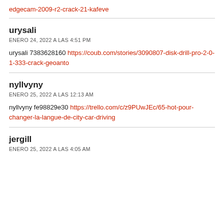edgecam-2009-r2-crack-21-kafeve (link)
urysali
ENERO 24, 2022 A LAS 4:51 PM

urysali 7383628160 https://coub.com/stories/3090807-disk-drill-pro-2-0-1-333-crack-geoanto
nyllvyny
ENERO 25, 2022 A LAS 12:13 AM

nyllvyny fe98829e30 https://trello.com/c/z9PUwJEc/65-hot-pour-changer-la-langue-de-city-car-driving
jergill
ENERO 25, 2022 A LAS 4:05 AM